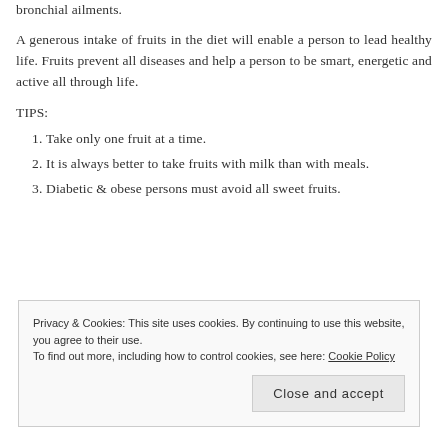bronchial ailments.
A generous intake of fruits in the diet will enable a person to lead healthy life. Fruits prevent all diseases and help a person to be smart, energetic and active all through life.
TIPS:
1. Take only one fruit at a time.
2. It is always better to take fruits with milk than with meals.
3. Diabetic & obese persons must avoid all sweet fruits.
[Figure (other): Dark black rectangular bar, partial image at bottom of page]
Privacy & Cookies: This site uses cookies. By continuing to use this website, you agree to their use.
To find out more, including how to control cookies, see here: Cookie Policy
Close and accept